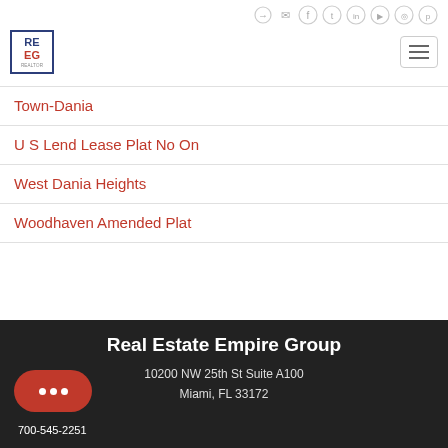[Figure (logo): Social media icons row: login, email, facebook, twitter, linkedin, youtube, instagram, pinterest]
[Figure (logo): RE EG real estate logo and hamburger menu]
Town-Dania
U S Lend Lease Plat No On
West Dania Heights
Woodhaven Amended Plat
Real Estate Empire Group
10200 NW 25th St Suite A100
Miami, FL 33172
700-545-2251